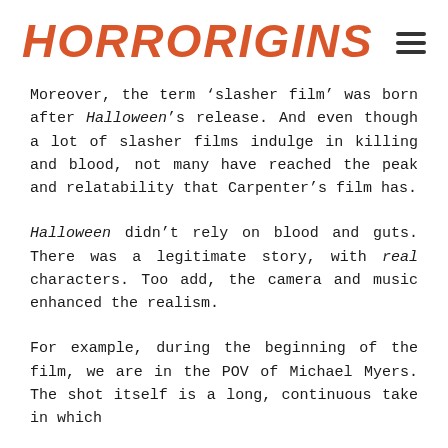HorrOrigins
Moreover, the term ‘slasher film’ was born after Halloween’s release. And even though a lot of slasher films indulge in killing and blood, not many have reached the peak and relatability that Carpenter’s film has.
Halloween didn’t rely on blood and guts. There was a legitimate story, with real characters. Too add, the camera and music enhanced the realism.
For example, during the beginning of the film, we are in the POV of Michael Myers. The shot itself is a long, continuous take in which